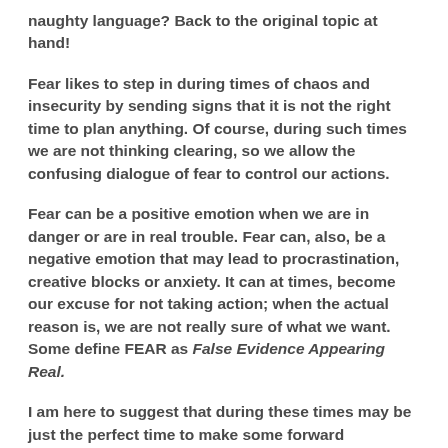naughty language?  Back to the original topic at hand!
Fear likes to step in during times of chaos and insecurity by sending signs that it is not the right time to plan anything.  Of course, during such times we are not thinking clearing, so we allow the confusing dialogue of fear to control our actions.
Fear can be a positive emotion when we are in danger or are in real trouble.  Fear can, also, be a negative emotion that may lead to procrastination, creative blocks or anxiety.  It can at times, become our excuse for not taking action; when the actual reason is, we are not really sure of what we want.  Some define FEAR as False Evidence Appearing Real.
I am here to suggest that during these times may be just the perfect time to make some forward movement, even if the path ahead is not totally